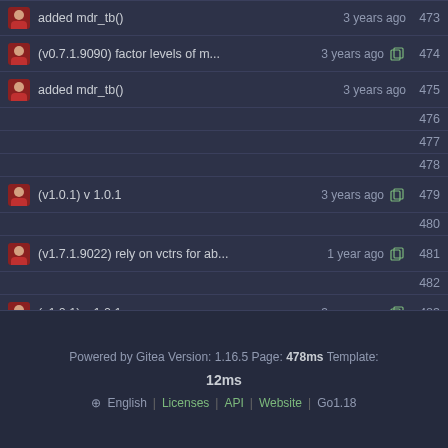added mdr_tb()   3 years ago   473
(v0.7.1.9090) factor levels of m...   3 years ago   474
added mdr_tb()   3 years ago   475
476
477
478
(v1.0.1) v 1.0.1   3 years ago   479
480
(v1.7.1.9022) rely on vctrs for ab...   1 year ago   481
482
(v1.0.1) v 1.0.1   3 years ago   483
added mdr_tb()   3 years ago   484
Powered by Gitea Version: 1.16.5 Page: 478ms Template: 12ms | English | Licenses | API | Website | Go1.18